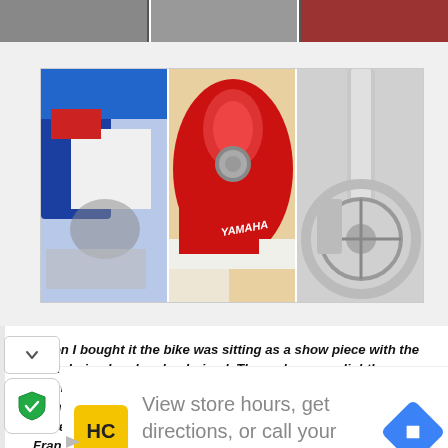[Figure (photo): Partial top strip showing motorcycle photos (partially cropped at top of page)]
[Figure (photo): Three motorcycle detail photos in a grid: left shows blue/white/red bodywork with engine, center shows red Yamaha fuel tank with cap, right shows front wheel/fork/brake disc close-up]
When I bought it the bike was sitting as a show piece with the tank drained and carbs drained. The carbs were slightly varnished from what is assumed a little gas left in them. Inside of the tank was flawless like new. I had the carbs professionally gone through by Sun Cycle in Manasquan, NJ. Frank there said he used to race these bikes. Jersey Shore Power Sports my local Yamaha dealer referred me to Sun Cycle. While the carbs were being done
[Figure (other): Advertisement banner: HC logo (yellow square), text 'View store hours, get directions, or call your salon!', blue diamond navigation arrow icon]